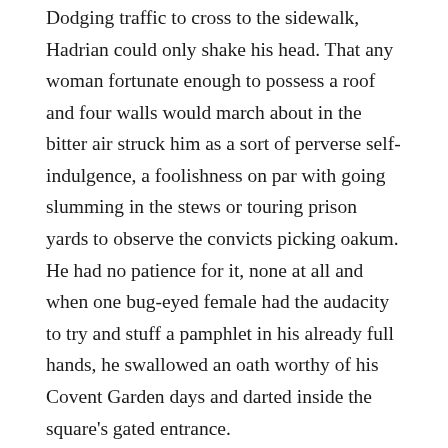Dodging traffic to cross to the sidewalk, Hadrian could only shake his head.  That any woman fortunate enough to possess a roof and four walls would march about in the bitter air struck him as a sort of perverse self-indulgence, a foolishness on par with going slumming in the stews or touring prison yards to observe the convicts picking oakum.  He had no patience for it, none at all and when one bug-eyed female had the audacity to try and stuff a pamphlet in his already full hands, he swallowed an oath worthy of his Covent Garden days and darted inside the square's gated entrance.
He realized his mistake at once.  Apparently not content with clogging the sidewalks, the damnable females had made camp within the park proper.  A platform had been erected in the center of the green and several more dark-